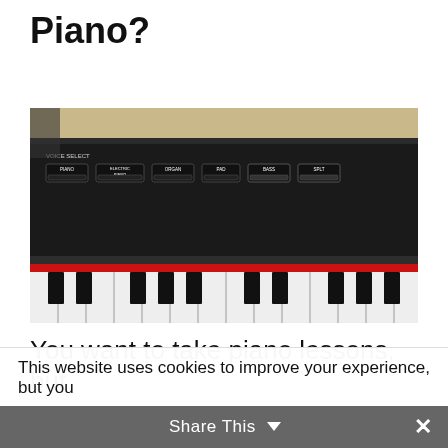Piano?
[Figure (photo): Close-up photo of a portable digital piano showing the control panel with VOICE SELECT buttons (Piano, Electric Piano, Organ, Pad, Bass, Splt) above piano keys (black and white) with a red trim strip between the panel and keys.]
You want to take piano lessons, but
This website uses cookies to improve your experience, but you
Share This ∨  ✕